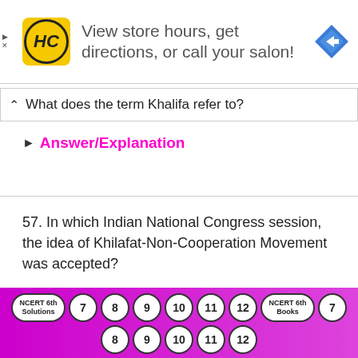[Figure (screenshot): Advertisement banner for HC salon with yellow HC logo, text 'View store hours, get directions, or call your salon!' and a blue direction icon]
What does the term Khalifa refer to?
▶ Answer/Explanation
57. In which Indian National Congress session, the idea of Khilafat-Non-Cooperation Movement was accepted?
▶ Answer/Explanation
[Figure (screenshot): Bottom navigation bar with circles: NCERT 6th Solutions, 7, 8, 9, 10, 11, 12, NCERT 6th Books, 7, 8, 9, 10, 11, 12]